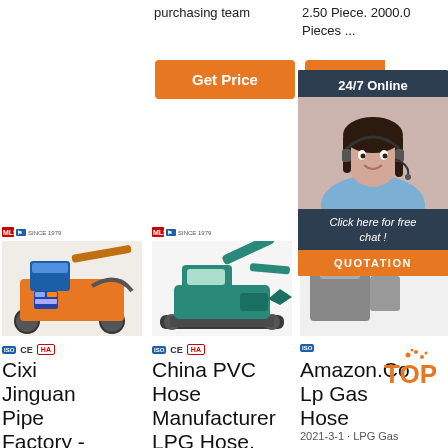purchasing team
2.50 Piece. 2000.0 Pieces ...
[Figure (screenshot): Orange 'Get Price' button]
[Figure (screenshot): Partially visible orange 'G...' button]
[Figure (photo): Chat overlay with woman wearing headset, '24/7 Online', 'Click here for free chat!', and QUOTATION button]
[Figure (photo): Product photo: orange concrete pump machine with MLS SINCE 1979 logo and CE/HA certifications]
Cixi Jinguan Pipe Factory -
[Figure (photo): Product photo: green mini excavator with MLS SINCE 1979 logo and CE/HA certifications]
China PVC Hose Manufacturer LPG Hose,
[Figure (photo): Partial product photo with MLS logo and certifications]
Amazon.Co Lp Gas Hose
2021-3-1 · LPG Gas